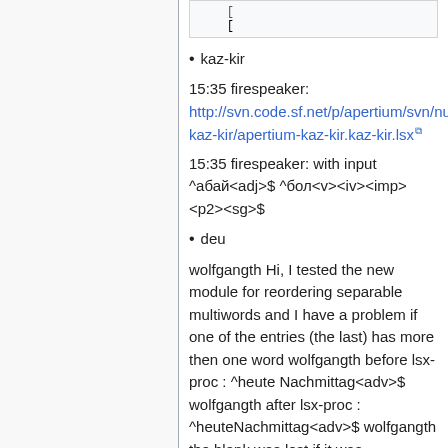[
kaz-kir
15:35 firespeaker: http://svn.code.sf.net/p/apertium/svn/nursery/apertium-kaz-kir/apertium-kaz-kir.kaz-kir.lsx
15:35 firespeaker: with input ^абай<adj>$ ^бол<v><iv><imp><p2><sg>$
deu
wolfgangth Hi, I tested the new module for reordering separable multiwords and I have a problem if one of the entries (the last) has more then one word wolfgangth before lsx-proc : ^heute Nachmittag<adv>$ wolfgangth after lsx-proc : ^heuteNachmittag<adv>$ wolfgangth the blank was lost if it was